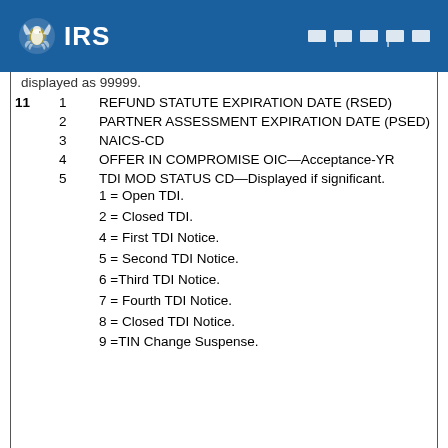IRS
displayed as 99999.
| # | Sub# | Description |
| --- | --- | --- |
| 11 | 1 | REFUND STATUTE EXPIRATION DATE (RSED) |
|  | 2 | PARTNER ASSESSMENT EXPIRATION DATE (PSED) |
|  | 3 | NAICS-CD |
|  | 4 | OFFER IN COMPROMISE OIC—Acceptance-YR |
|  | 5 | TDI MOD STATUS CD—Displayed if significant.
1 = Open TDI.
2 = Closed TDI.
4 = First TDI Notice.
5 = Second TDI Notice.
6 =Third TDI Notice.
7 = Fourth TDI Notice.
8 = Closed TDI Notice.
9 =TIN Change Suspense. |